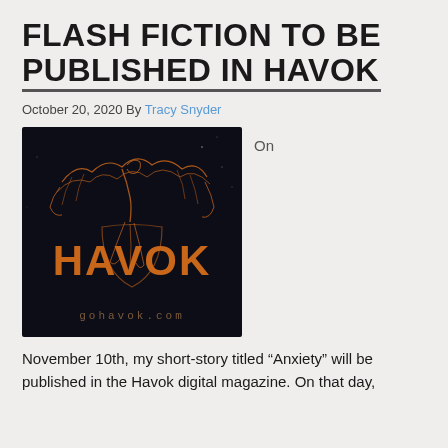Flash Fiction to be Published in Havok
October 20, 2020 By Tracy Snyder
[Figure (logo): Havok magazine logo with phoenix bird artwork on dark background, orange bold HAVOK text, and gohavok.com website text at the bottom]
On
November 10th, my short-story titled “Anxiety” will be published in the Havok digital magazine. On that day,